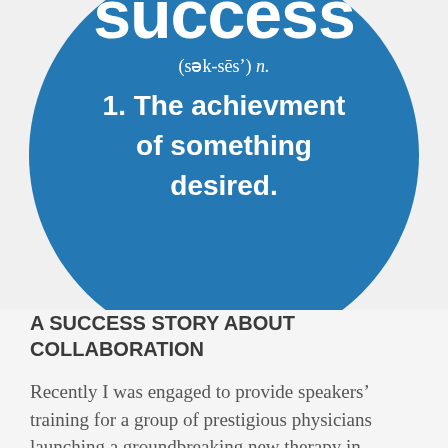[Figure (illustration): A large blue circle on a light gray background showing a dictionary-style definition of 'success'. The word 'success' appears in large white bold letters at the top (partially cropped), followed by the phonetic pronunciation '(sək-sēs') n.' in smaller white italic text, then '1. The achievment of something desired.' in large white bold text centered within the circle.]
A SUCCESS STORY ABOUT COLLABORATION
Recently I was engaged to provide speakers' training for a group of prestigious physicians launching a groundbreaking new therapy in Europe. Each member of the group was extraordinarily committed to